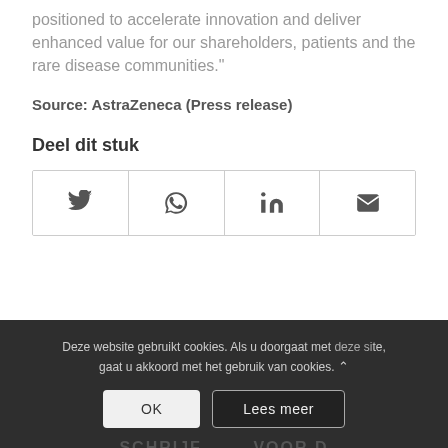positioned to accelerate innovation and deliver enhanced value for our shareholders, patients and the rare disease communities."
Source: AstraZeneca (Press release)
Deel dit stuk
[Figure (other): Social share buttons: Twitter, WhatsApp, LinkedIn, Email]
Deze website gebruikt cookies. Als u doorgaat met deze site, gaat u akkoord met het gebruik van cookies.
OK | Lees meer
SCHRIJF... VOOR D... HOLLANDS WEEKM...